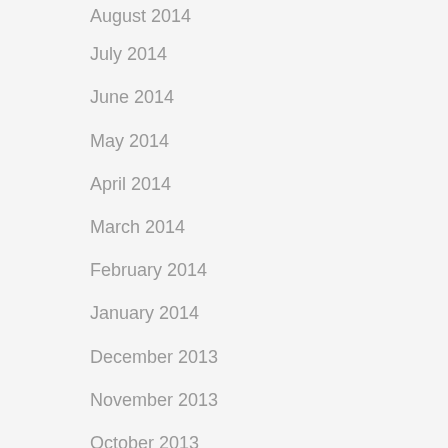August 2014
July 2014
June 2014
May 2014
April 2014
March 2014
February 2014
January 2014
December 2013
November 2013
October 2013
September 2013
August 2013
July 2013